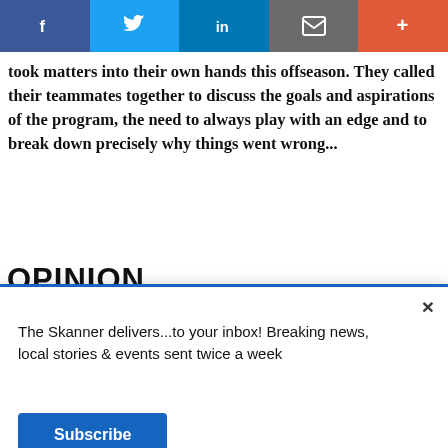Social sharing bar: Facebook, Twitter, LinkedIn, Email, Plus
took matters into their own hands this offseason. They called their teammates together to discuss the goals and aspirations of the program, the need to always play with an edge and to break down precisely why things went wrong...
OPINION
[Figure (photo): Close-up photo of an egg on gray background]
No One Ever Told You About Black August?
The Skanner delivers...to your inbox! Breaking news, local stories & events sent twice a week
Subscribe
infolinks
[Figure (infographic): Nike advertisement: Nike. Just Do It — Inspiring the world's athletes, Nike delivers the deals. www.nike.com]
[Figure (infographic): Constant Staffing advertisement in Spanish: ESTAMOS CONTRATANDO BILINGUES — TRABAJADORES DE BODEGA, EMPACADORES, PERSONAL ADMINISTRATIVO — 713-714-8909]